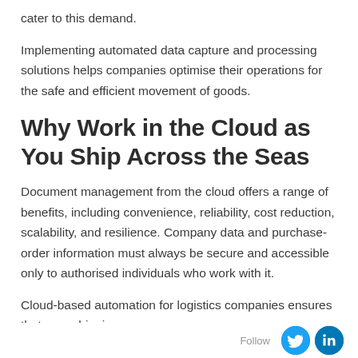cater to this demand.
Implementing automated data capture and processing solutions helps companies optimise their operations for the safe and efficient movement of goods.
Why Work in the Cloud as You Ship Across the Seas
Document management from the cloud offers a range of benefits, including convenience, reliability, cost reduction, scalability, and resilience. Company data and purchase-order information must always be secure and accessible only to authorised individuals who work with it.
Cloud-based automation for logistics companies ensures that your shipping
Follow